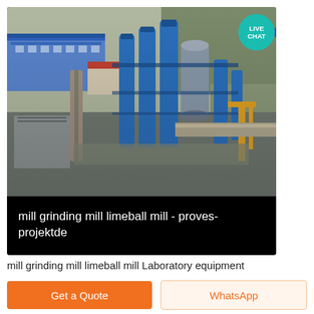[Figure (photo): Aerial view of an industrial grinding mill facility with blue silos, conveyor belts, and construction equipment on a grey overcast day]
mill grinding mill limeball mill - proves-projektde
mill grinding mill limeball mill Laboratory equipment
Get a Quote
WhatsApp